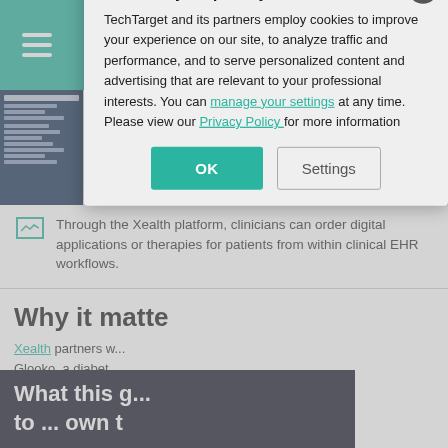SearchHealthIT
[Figure (screenshot): Screenshot of a digital health application interface showing a sidebar and document listing with text content]
Through the Xealth platform, clinicians can order digital applications or therapies for patients from within clinical EHR workflows.
Why it matte
Xealth partners w... Glooko, a diabet... SilverCloud Hea... platform. The to... so that when a p... these, they can b...
[Figure (screenshot): Dark banner with white text reading 'What this g... to ... own t']
We value your privacy. TechTarget and its partners employ cookies to improve your experience on our site, to analyze traffic and performance, and to serve personalized content and advertising that are relevant to your professional interests. You can manage your settings at any time. Please view our Privacy Policy for more information